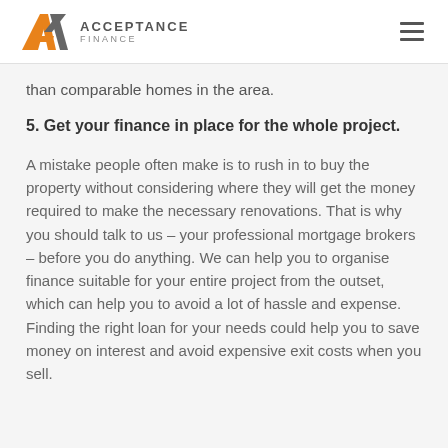Acceptance Finance
than comparable homes in the area.
5. Get your finance in place for the whole project.
A mistake people often make is to rush in to buy the property without considering where they will get the money required to make the necessary renovations. That is why you should talk to us – your professional mortgage brokers – before you do anything. We can help you to organise finance suitable for your entire project from the outset, which can help you to avoid a lot of hassle and expense. Finding the right loan for your needs could help you to save money on interest and avoid expensive exit costs when you sell.